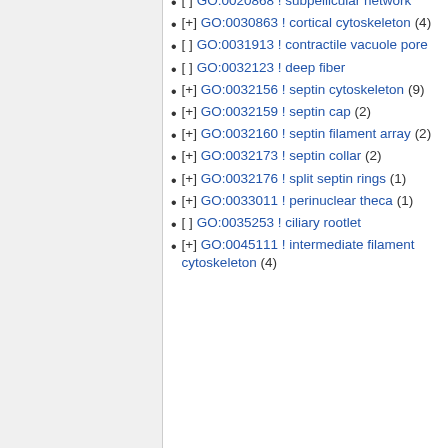[ ] GO:0020868 ! subpellicular network
[+] GO:0030863 ! cortical cytoskeleton (4)
[ ] GO:0031913 ! contractile vacuole pore
[ ] GO:0032123 ! deep fiber
[+] GO:0032156 ! septin cytoskeleton (9)
[+] GO:0032159 ! septin cap (2)
[+] GO:0032160 ! septin filament array (2)
[+] GO:0032173 ! septin collar (2)
[+] GO:0032176 ! split septin rings (1)
[+] GO:0033011 ! perinuclear theca (1)
[ ] GO:0035253 ! ciliary rootlet
[+] GO:0045111 ! intermediate filament cytoskeleton (4)